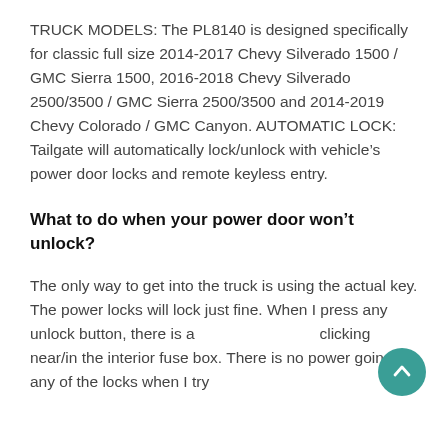TRUCK MODELS: The PL8140 is designed specifically for classic full size 2014-2017 Chevy Silverado 1500 / GMC Sierra 1500, 2016-2018 Chevy Silverado 2500/3500 / GMC Sierra 2500/3500 and 2014-2019 Chevy Colorado / GMC Canyon. AUTOMATIC LOCK: Tailgate will automatically lock/unlock with vehicle’s power door locks and remote keyless entry.
What to do when your power door won’t unlock?
The only way to get into the truck is using the actual key. The power locks will lock just fine. When I press any unlock button, there is a clicking near/in the interior fuse box. There is no power going to any of the locks when I try...